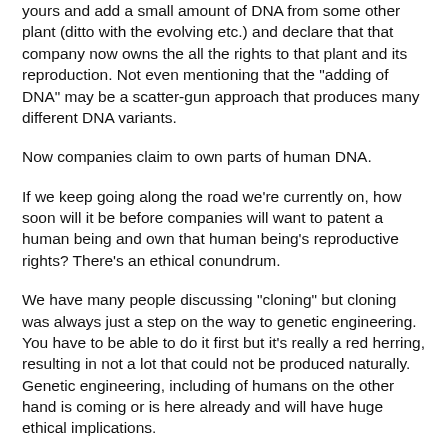yours and add a small amount of DNA from some other plant (ditto with the evolving etc.) and declare that that company now owns the all the rights to that plant and its reproduction. Not even mentioning that the "adding of DNA" may be a scatter-gun approach that produces many different DNA variants.
Now companies claim to own parts of human DNA.
If we keep going along the road we're currently on, how soon will it be before companies will want to patent a human being and own that human being's reproductive rights? There's an ethical conundrum.
We have many people discussing "cloning" but cloning was always just a step on the way to genetic engineering. You have to be able to do it first but it's really a red herring, resulting in not a lot that could not be produced naturally. Genetic engineering, including of humans on the other hand is coming or is here already and will have huge ethical implications.
I think many people who understand what is happening in